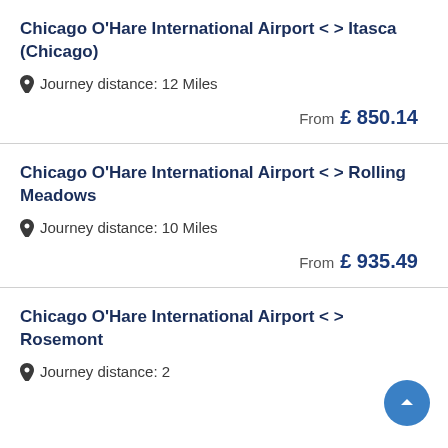Chicago O'Hare International Airport <> Itasca (Chicago)
Journey distance: 12 Miles
From £ 850.14
Chicago O'Hare International Airport <> Rolling Meadows
Journey distance: 10 Miles
From £ 935.49
Chicago O'Hare International Airport <> Rosemont
Journey distance: 2